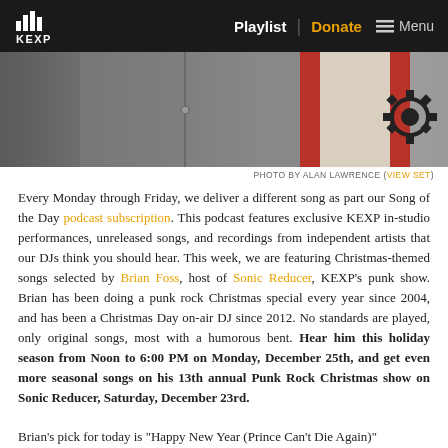KEXP | Playlist | Donate | Menu
[Figure (photo): Photo of a person in a gray jacket with arms raised, standing in front of a colorful striped background with red and white sections and a gear symbol]
PHOTO BY ALAN LAWRENCE (VIEW SET)
Every Monday through Friday, we deliver a different song as part our Song of the Day podcast subscription. This podcast features exclusive KEXP in-studio performances, unreleased songs, and recordings from independent artists that our DJs think you should hear. This week, we are featuring Christmas-themed songs selected by Brian Foss, host of Sonic Reducer, KEXP's punk show. Brian has been doing a punk rock Christmas special every year since 2004, and has been a Christmas Day on-air DJ since 2012. No standards are played, only original songs, most with a humorous bent. Hear him this holiday season from Noon to 6:00 PM on Monday, December 25th, and get even more seasonal songs on his 13th annual Punk Rock Christmas show on Sonic Reducer, Saturday, December 23rd.
Brian's pick for today is "Happy New Year (Prince Can't Die Again)"